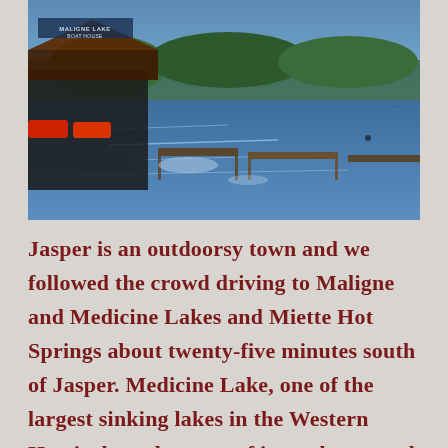[Figure (photo): A photo of Maligne Lake boat house and docks with blue water and forested hills in the background. A sign reads 'MALIGNE LAKE BOAT HOUSE'.]
Jasper is an outdoorsy town and we followed the crowd driving to Maligne and Medicine Lakes and Miette Hot Springs about twenty-five minutes south of Jasper. Medicine Lake, one of the largest sinking lakes in the Western Hemisphere, because of its underground drainage system and spring fill, was a bit of a disappointment. It was more mudflats and scattered pools than extended